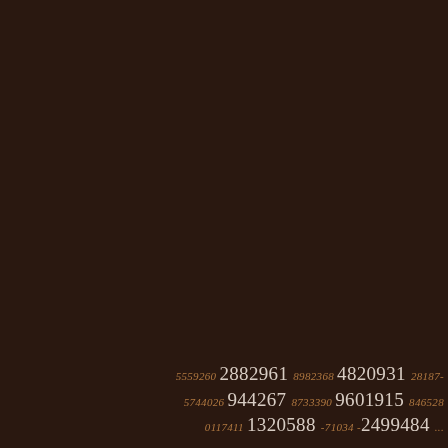[Figure (other): Dark brown background filling most of the page with decorative sequences of numbers in varying sizes and warm tones appearing near the bottom right of the page.]
5559260 2882961 8982368 4820931 28187- 5744026 944267 8733390 9601915 846528 0117411 1320588 -71034 -2499484 ...